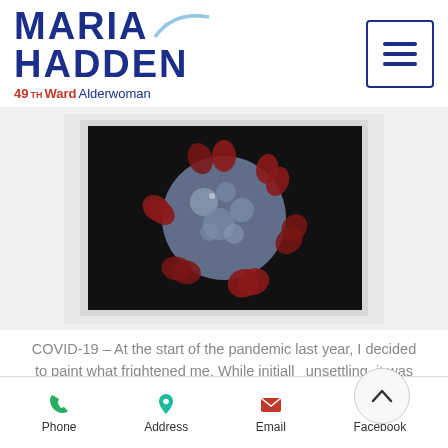MARIA HADDEN 49TH Ward Alderwoman
[Figure (photo): Close-up photo of a coronavirus (COVID-19) particle model on a dark background, mounted artwork painting]
COVID-19 – At the start of the pandemic last year, I decided to paint what frightened me. While initially unsettling, it was comforting to see this terrible disease captured in some way. It has hung on my wall since
Phone | Address | Email | Facebook